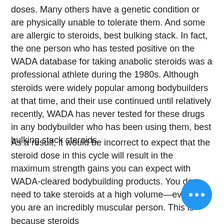doses. Many others have a genetic condition or are physically unable to tolerate them. And some are allergic to steroids, best bulking stack. In fact, the one person who has tested positive on the WADA database for taking anabolic steroids was a professional athlete during the 1980s. Although steroids were widely popular among bodybuilders at that time, and their use continued until relatively recently, WADA has never tested for these drugs in any bodybuilder who has been using them, best bulking stack steroids.
As a result, it would be incorrect to expect that the steroid dose in this cycle will result in the maximum strength gains you can expect with WADA-cleared bodybuilding products. You do need to take steroids at a high volume—even if you are an incredibly muscular person. This is because steroids